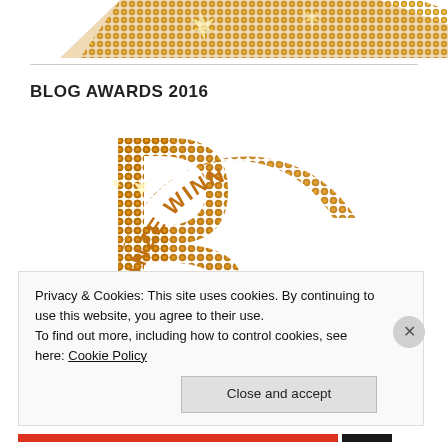[Figure (photo): Partial view of a gold/bronze sequined award trophy or badge at the top of the page, cropped]
BLOG AWARDS 2016
[Figure (photo): Bronze Winner blog award badge with gold/bronze sequined letter B and curved text reading BRONZE WINNER and littlemade below]
Privacy & Cookies: This site uses cookies. By continuing to use this website, you agree to their use.
To find out more, including how to control cookies, see here: Cookie Policy
Close and accept